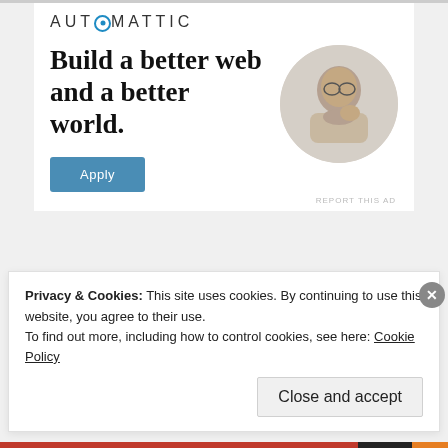[Figure (logo): Automattic logo with stylized O]
Build a better web and a better world.
[Figure (photo): Circular photo of a man thinking, resting chin on hand]
Apply
REPORT THIS AD
#cersei, #game of thrones, #olenna, #power rankings, #recap, #tyrell
Privacy & Cookies: This site uses cookies. By continuing to use this website, you agree to their use.
To find out more, including how to control cookies, see here: Cookie Policy
Close and accept